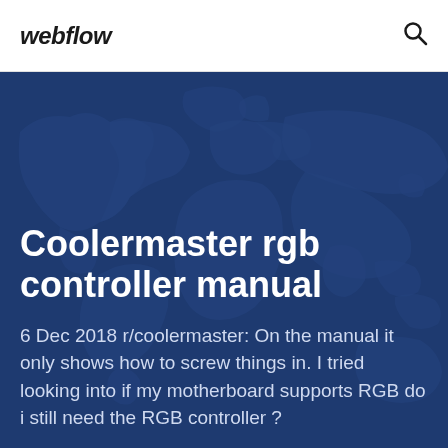webflow
Coolermaster rgb controller manual
6 Dec 2018 r/coolermaster: On the manual it only shows how to screw things in. I tried looking into if my motherboard supports RGB do i still need the RGB controller ?